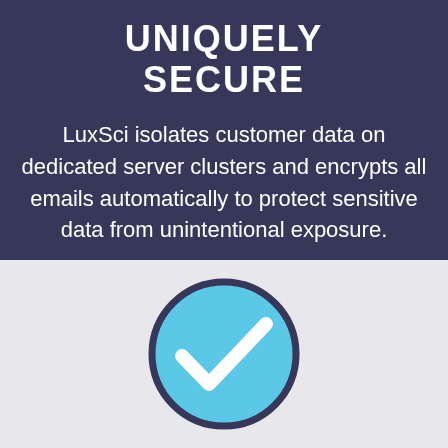UNIQUELY SECURE
LuxSci isolates customer data on dedicated server clusters and encrypts all emails automatically to protect sensitive data from unintentional exposure.
[Figure (illustration): A circular checkmark icon with a light blue fill and dark navy border, containing a white checkmark symbol.]